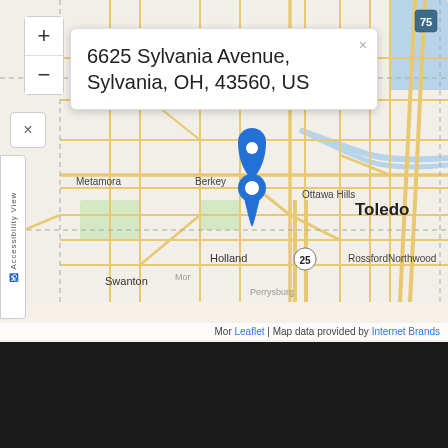[Figure (map): Leaflet interactive map showing the Toledo, Ohio area with a blue map pin marking 6625 Sylvania Avenue, Sylvania, OH. Map shows surrounding areas including Sylvania, Ottawa Hills, Holland, Swanton, Metamora, Berkey, Rossford, Northwood, and Toledo. Major roads shown in orange. Route markers for 75 and 25 visible. Map attribution: Leaflet | Map data provided by Internet Brands.]
6625 Sylvania Avenue, Sylvania, OH, 43560, US
Leaflet | Map data provided by Internet Brands